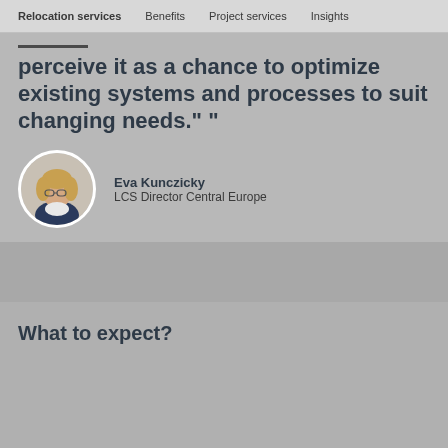Relocation services   Benefits   Project services   Insights
perceive it as a chance to optimize existing systems and processes to suit changing needs." "
[Figure (photo): Circular portrait photo of Eva Kunczicky, a woman with glasses and blond hair wearing a dark blazer]
Eva Kunczicky
LCS Director Central Europe
What to expect?